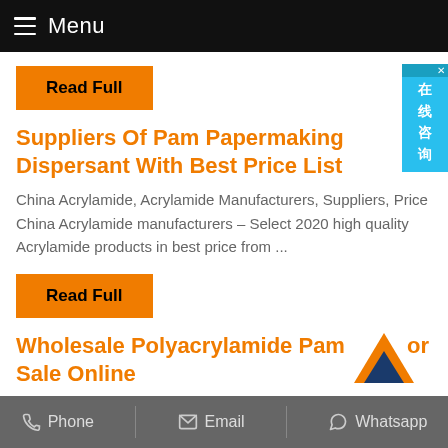Menu
Read Full
Suppliers Of Pam Papermaking Dispersant With Best Price List
China Acrylamide, Acrylamide Manufacturers, Suppliers, Price China Acrylamide manufacturers – Select 2020 high quality Acrylamide products in best price from ...
Read Full
Wholesale Polyacrylamide Pam For Sale Online
Phone  Email  Whatsapp